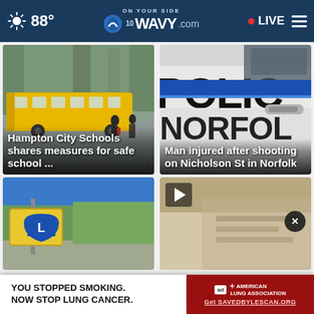88° | WAVY.com | ON YOUR SIDE | LIVE
[Figure (photo): School bus with children crossing the road, wooded background]
Hampton City Schools shares measures for safe school ...
[Figure (photo): Norfolk police car door close-up showing POLICE and NORFOLK text]
Man injured after shooting on Nicholson St in Norfolk
[Figure (photo): Road signs card, bottom left]
[Figure (photo): Video thumbnail with play button and close button]
YOU STOPPED SMOKING. NOW STOP LUNG CANCER.
ad | AMERICAN LUNG ASSOCIATION | Get SAVEDBYLESCAN.ORG